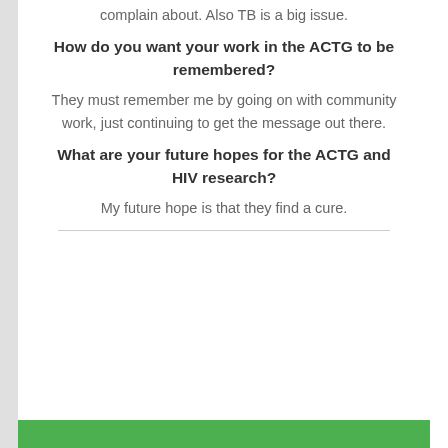complain about. Also TB is a big issue.
How do you want your work in the ACTG to be remembered?
They must remember me by going on with community work, just continuing to get the message out there.
What are your future hopes for the ACTG and HIV research?
My future hope is that they find a cure.